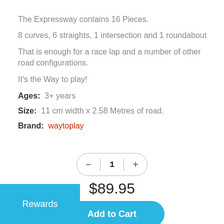The Expressway contains 16 Pieces.
8 curves, 6 straights, 1 intersection and 1 roundabout
That is enough for a race lap and a number of other road configurations.
It's the Way to play!
Ages:  3+ years
Size:  11 cm width x 2.58 Metres of road.
Brand:  waytoplay
$89.95
Add to Cart
Add to Wishlist
Rewards